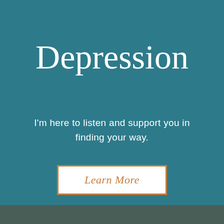Depression
I'm here to listen and support you in finding your way.
Learn More